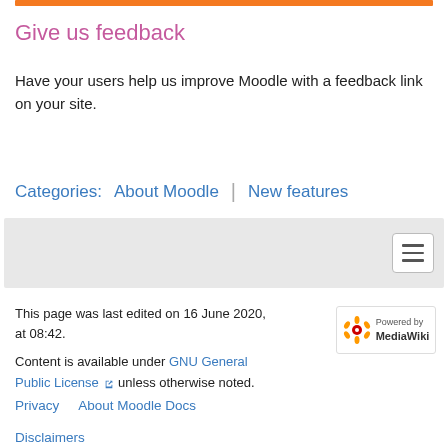Give us feedback
Have your users help us improve Moodle with a feedback link on your site.
Categories:  About Moodle  |  New features
[Figure (screenshot): Grey navigation bar with hamburger menu button on the right]
This page was last edited on 16 June 2020, at 08:42.
Content is available under GNU General Public License unless otherwise noted.
Privacy   About Moodle Docs
Disclaimers